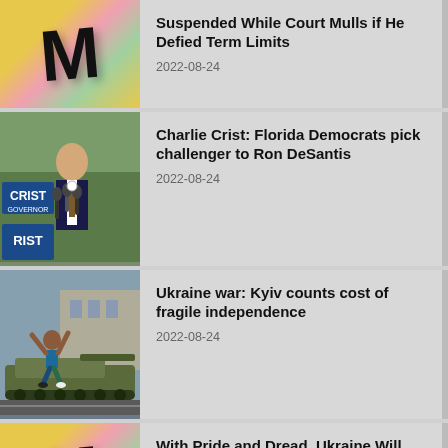Suspended While Court Mulls if He Defied Term Limits
2022-08-24
Charlie Crist: Florida Democrats pick challenger to Ron DeSantis
2022-08-24
Ukraine war: Kyiv counts cost of fragile independence
2022-08-24
With Pride and Dread, Ukraine Will Mark Its First Independence Day Since Russia's Invasion